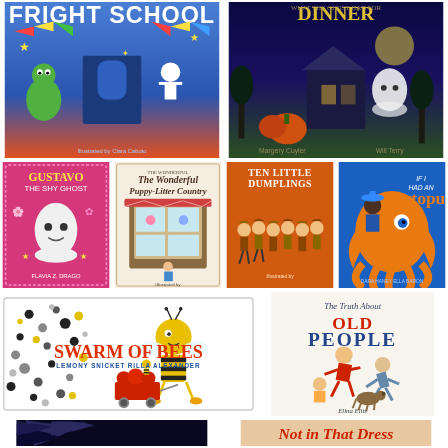[Figure (illustration): Book cover: Fright School - blue background with monster and skeleton characters]
[Figure (illustration): Book cover: Ghost Dinner (What the Ghost Had for Dinner) by Margery Cuyler - dark spooky graveyard scene]
[Figure (illustration): Book cover: Gustavo the Shy Ghost - pink background with white ghost]
[Figure (illustration): Book cover: The Wonderful Puppy-Litter Country - cream colored storefront illustration]
[Figure (illustration): Book cover: Ten Little Dumplings - orange background with children in traditional clothing]
[Figure (illustration): Book cover: If I Had an Octopus - blue background with orange octopus and child]
[Figure (illustration): Book cover: Swarm of Bees by Lemony Snicket and Rilla Alexander - white background with bee boy and dots]
[Figure (illustration): Book cover: The Truth About Old People by Elina Elits - cream background with jumping old and young people]
[Figure (illustration): Book cover: Bat (partial) - dark blue/black bat claws at bottom left]
[Figure (illustration): Book cover: Not in That Dress (partial) - text visible at bottom right]